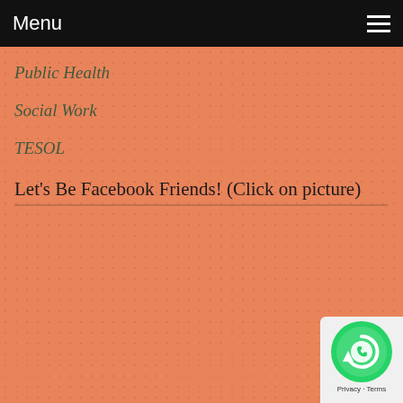Menu
Public Health
Social Work
TESOL
Let's Be Facebook Friends! (Click on picture)
[Figure (logo): WhatsApp icon badge with Privacy and Terms text at bottom]